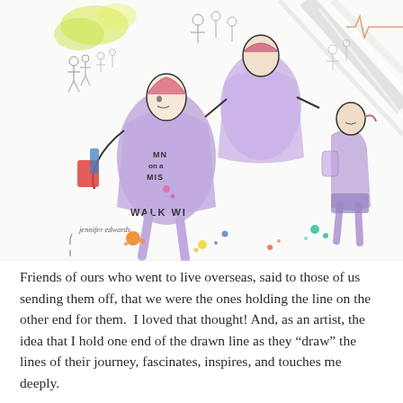[Figure (illustration): Watercolor and ink illustration of people walking, wearing purple sweatshirts with text 'Walk With' and 'MN on a MIS'. Multiple figures shown from different angles, colorful paint splatters throughout. Artist signature reads 'jennifer edwards' at bottom left.]
Friends of ours who went to live overseas, said to those of us sending them off, that we were the ones holding the line on the other end for them. I loved that thought! And, as an artist, the idea that I hold one end of the drawn line as they "draw" the lines of their journey, fascinates, inspires, and touches me deeply.